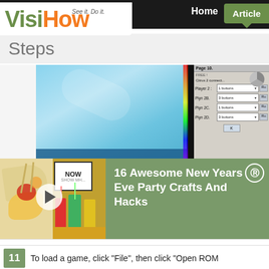VisiHow — See it. Do it.
Steps
[Figure (screenshot): Screenshot showing a Windows desktop with a blue sky background and a game setup dialog on the right with player options and dropdowns.]
[Figure (screenshot): Video overlay banner showing food/party crafts thumbnail with play button and text '16 Awesome New Years Eve Party Crafts And Hacks' on a green background with an X close button.]
To load a game, click "File", then click "Open ROM